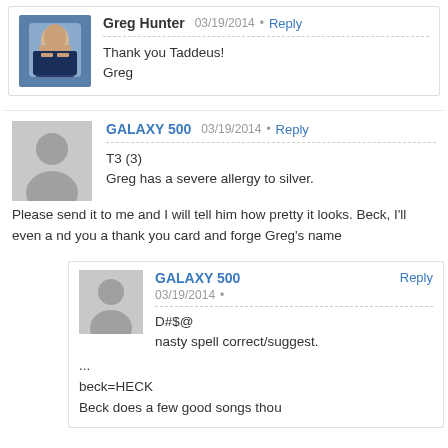[Figure (photo): Greg Hunter profile photo - man in suit against blue background]
Greg Hunter  03/19/2014  •  Reply
Thank you Taddeus!
Greg
[Figure (illustration): Generic user avatar silhouette - gray circle head and body on gray background]
GALAXY 500  03/19/2014  •  Reply
T3 (3)
Greg has a severe allergy to silver. Please send it to me and I will tell him how pretty it looks. Beck, I'll even a nd you a thank you card and forge Greg's name
[Figure (illustration): Generic user avatar silhouette - gray circle head and body on gray background]
GALAXY 500  Reply
03/19/2014  •
D#$@
nasty spell correct/suggest.
...
beck=HECK
Beck does a few good songs thou